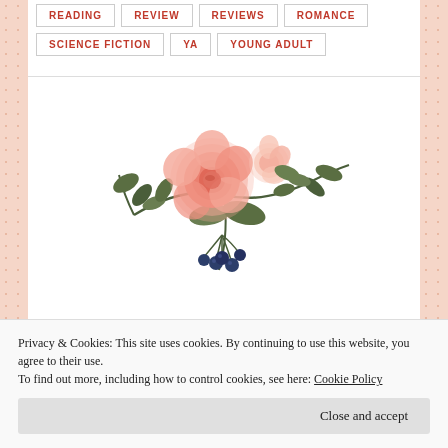READING
REVIEW
REVIEWS
ROMANCE
SCIENCE FICTION
YA
YOUNG ADULT
[Figure (illustration): Decorative floral illustration with pink roses, green leaves, and dark berries on stems]
Navigation
Privacy & Cookies: This site uses cookies. By continuing to use this website, you agree to their use.
To find out more, including how to control cookies, see here: Cookie Policy
Close and accept